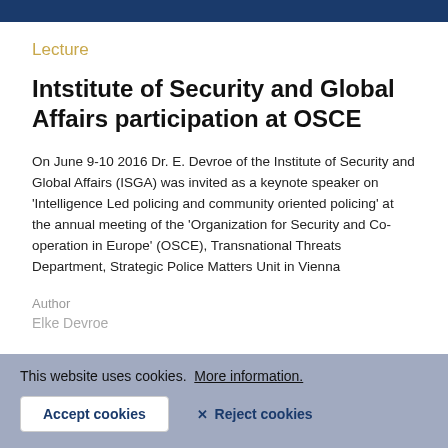Lecture
Intstitute of Security and Global Affairs participation at OSCE
On June 9-10 2016 Dr. E. Devroe of the Institute of Security and Global Affairs (ISGA) was invited as a keynote speaker on 'Intelligence Led policing and community oriented policing' at the annual meeting of the 'Organization for Security and Co-operation in Europe' (OSCE), Transnational Threats Department, Strategic Police Matters Unit in Vienna
Author
Elke Devroe
This website uses cookies. More information. Accept cookies  Reject cookies